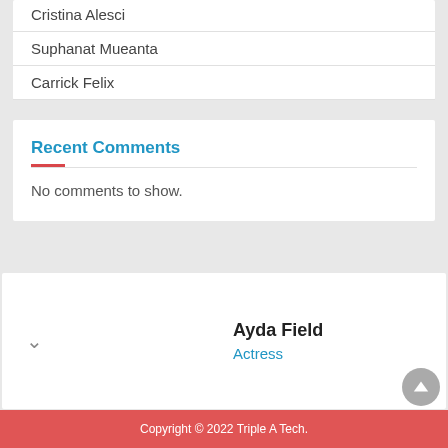Cristina Alesci
Suphanat Mueanta
Carrick Felix
Recent Comments
No comments to show.
Ayda Field
Actress
Copyright © 2022 Triple A Tech.